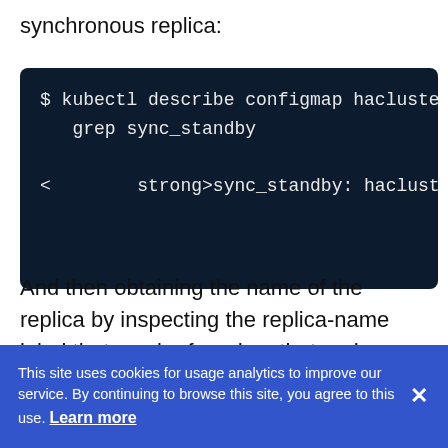synchronous replica:
[Figure (screenshot): Dark terminal/code block showing kubectl command: $ kubectl describe configmap hacluster2  grep sync_standby  <        strong>sync_standby: hacluster2]
And then obtaining the name of the replica by inspecting the replica-name label that can be found on that pod.
This site uses cookies for usage analytics to improve our service. By continuing to browse this site, you agree to this use. Learn more